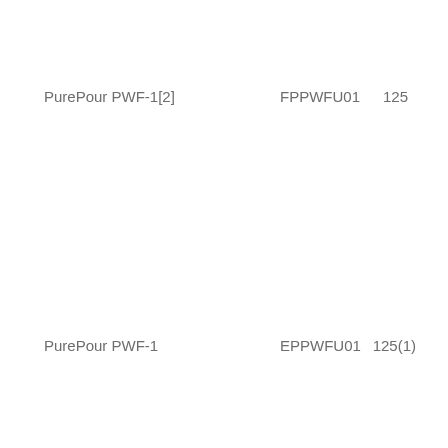PurePour PWF-1[2]
FPPWFU01
125
PurePour PWF-1
EPPWFU01
125(1)